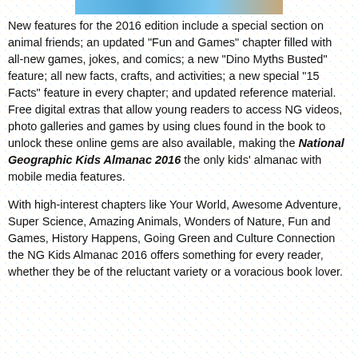[Figure (photo): Top banner image strip showing a partial colorful book cover or scene]
New features for the 2016 edition include a special section on animal friends; an updated "Fun and Games" chapter filled with all-new games, jokes, and comics; a new "Dino Myths Busted" feature; all new facts, crafts, and activities; a new special "15 Facts" feature in every chapter; and updated reference material.  Free digital extras that allow young readers to access NG videos, photo galleries and games by using clues found in the book to unlock these online gems are also available, making the National Geographic Kids Almanac 2016 the only kids' almanac with mobile media features.
With high-interest chapters like Your World, Awesome Adventure, Super Science, Amazing Animals, Wonders of Nature, Fun and Games, History Happens, Going Green and Culture Connection the NG Kids Almanac 2016 offers something for every reader, whether they be of the reluctant variety or a voracious book lover.